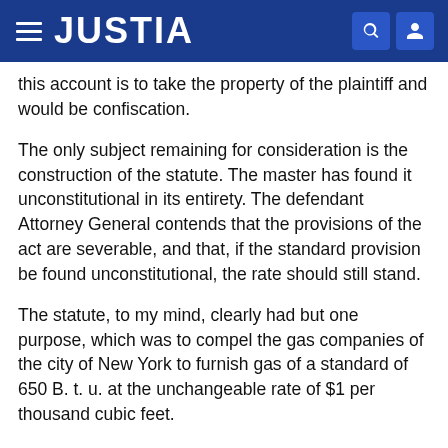JUSTIA
this account is to take the property of the plaintiff and would be confiscation.
The only subject remaining for consideration is the construction of the statute. The master has found it unconstitutional in its entirety. The defendant Attorney General contends that the provisions of the act are severable, and that, if the standard provision be found unconstitutional, the rate should still stand.
The statute, to my mind, clearly had but one purpose, which was to compel the gas companies of the city of New York to furnish gas of a standard of 650 B. t. u. at the unchangeable rate of $1 per thousand cubic feet.
However you may attempt to construe the provisions of the act, they are found to be correlated, because, while the first provision is as to price, clearly it can only be gas